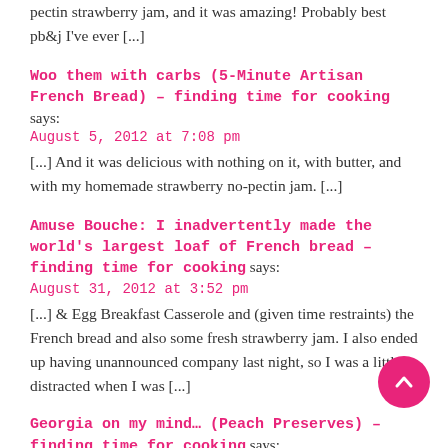pectin strawberry jam, and it was amazing! Probably best pb&j I've ever [...]
Woo them with carbs (5-Minute Artisan French Bread) – finding time for cooking says:
August 5, 2012 at 7:08 pm
[...] And it was delicious with nothing on it, with butter, and with my homemade strawberry no-pectin jam. [...]
Amuse Bouche: I inadvertently made the world's largest loaf of French bread – finding time for cooking says:
August 31, 2012 at 3:52 pm
[...] & Egg Breakfast Casserole and (given time restraints) the French bread and also some fresh strawberry jam. I also ended up having unannounced company last night, so I was a little distracted when I was [...]
Georgia on my mind… (Peach Preserves) – finding time for cooking says:
September 17, 2012 at 7:54 pm